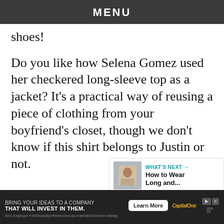MENU
shoes!
Do you like how Selena Gomez used her checkered long-sleeve top as a jacket? It’s a practical way of reusing a piece of clothing from your boyfriend’s closet, though we don’t know if this shirt belongs to Justin or not.
[Figure (screenshot): What’s Next promo bar with thumbnail image and text 'How to Wear Long and...']
[Figure (other): Advertisement banner: BRING YOUR IDEAS TO A COMPANY THAT WILL INVEST IN THEM. Learn More. Capital One.]